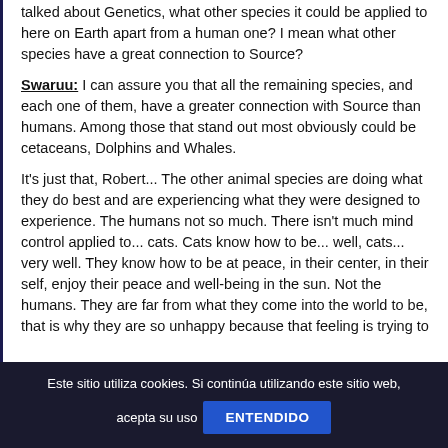talked about Genetics, what other species it could be applied to here on Earth apart from a human one? I mean what other species have a great connection to Source?
Swaruu: I can assure you that all the remaining species, and each one of them, have a greater connection with Source than humans. Among those that stand out most obviously could be cetaceans, Dolphins and Whales.
It's just that, Robert... The other animal species are doing what they do best and are experiencing what they were designed to experience. The humans not so much. There isn't much mind control applied to... cats. Cats know how to be... well, cats... very well. They know how to be at peace, in their center, in their self, enjoy their peace and well-being in the sun. Not the humans. They are far from what they come into the world to be, that is why they are so unhappy because that feeling is trying to
Este sitio utiliza cookies. Si continúa utilizando este sitio web, acepta su uso  ENTENDIDO